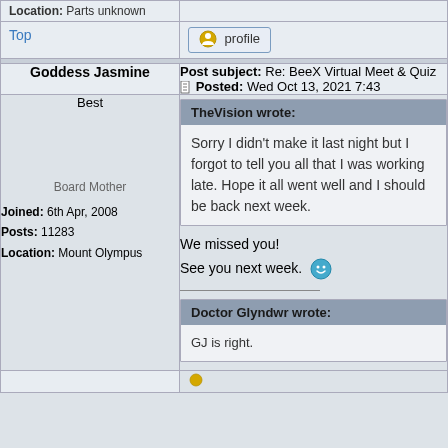Location: Parts unknown
Top
profile
Goddess Jasmine
Post subject: Re: BeeX Virtual Meet & Quiz
Posted: Wed Oct 13, 2021 7:43
Best
TheVision wrote:
Sorry I didn't make it last night but I forgot to tell you all that I was working late. Hope it all went well and I should be back next week.
Board Mother
Joined: 6th Apr, 2008
Posts: 11283
Location: Mount Olympus
We missed you!
See you next week.
Doctor Glyndwr wrote:
GJ is right.